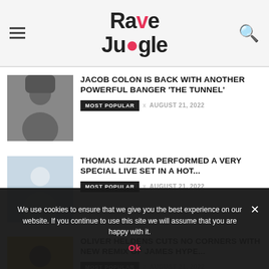Rave Jungle
JACOB COLON IS BACK WITH ANOTHER POWERFUL BANGER 'THE TUNNEL'
MOST POPULAR × AUGUST 21, 2022
THOMAS LIZZARA PERFORMED A VERY SPECIAL LIVE SET IN A HOT...
MOST POPULAR × AUGUST 21, 2022
OLIVER HELDENS CUTS NO CORNERS WITH NEW REMIX OF JAMES HYPE...
MOST POPULAR × AUGUST 21, 2022
We use cookies to ensure that we give you the best experience on our website. If you continue to use this site we will assume that you are happy with it.
Ok